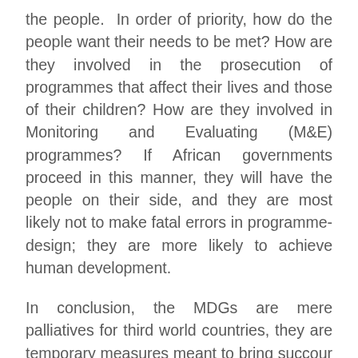the people.  In order of priority, how do the people want their needs to be met? How are they involved in the prosecution of programmes that affect their lives and those of their children? How are they involved in Monitoring and Evaluating (M&E) programmes? If African governments proceed in this manner, they will have the people on their side, and they are most likely not to make fatal errors in programme-design; they are more likely to achieve human development.
In conclusion, the MDGs are mere palliatives for third world countries, they are temporary measures meant to bring succour to the poor- by themselves they do not mean or imply some grand economic development programmes.  The MDGs are blueprint around some core social issues designed from outside and foisted on NEPAD, or better still